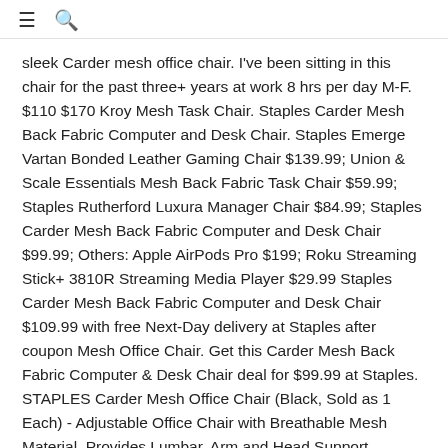≡ 🔍
sleek Carder mesh office chair. I've been sitting in this chair for the past three+ years at work 8 hrs per day M-F. $110 $170 Kroy Mesh Task Chair. Staples Carder Mesh Back Fabric Computer and Desk Chair. Staples Emerge Vartan Bonded Leather Gaming Chair $139.99; Union & Scale Essentials Mesh Back Fabric Task Chair $59.99; Staples Rutherford Luxura Manager Chair $84.99; Staples Carder Mesh Back Fabric Computer and Desk Chair $99.99; Others: Apple AirPods Pro $199; Roku Streaming Stick+ 3810R Streaming Media Player $29.99 Staples Carder Mesh Back Fabric Computer and Desk Chair $109.99 with free Next-Day delivery at Staples after coupon Mesh Office Chair. Get this Carder Mesh Back Fabric Computer & Desk Chair deal for $99.99 at Staples. STAPLES Carder Mesh Office Chair (Black, Sold as 1 Each) - Adjustable Office Chair with Breathable Mesh Material, Provides Lumbar, Arm and Head Support, Perfect Desk Chair for The Modern Office Brand: STAPLES. Built for both form and function, the mesh upholstery allows air to circulate while providing enough support for your body. Compare. Computer and desk chair is a smart